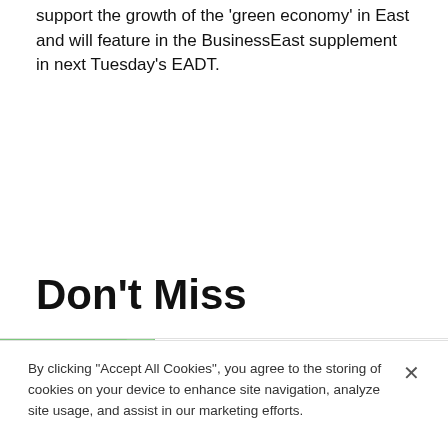support the growth of the 'green economy' in East and will feature in the BusinessEast supplement in next Tuesday's EADT.
Don't Miss
[Figure (photo): Thumbnail photo of a person against a green background, part of a 'Don't Miss' article card]
Tributes paid to 'devoted' husband and
By clicking "Accept All Cookies", you agree to the storing of cookies on your device to enhance site navigation, analyze site usage, and assist in our marketing efforts.